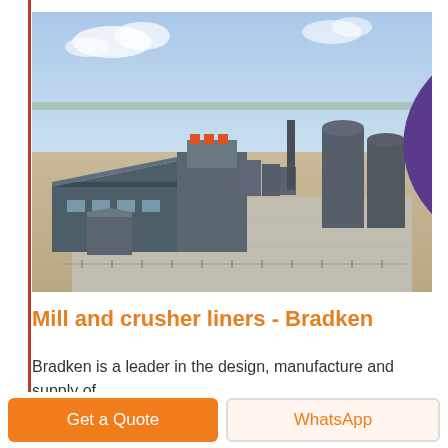[Figure (photo): Aerial view of an industrial facility with large grey warehouse/factory buildings, silos, smokestacks, and paved outdoor area on flat arid land under a blue sky with clouds. A 'LIVE CHAT' purple speech bubble icon is overlaid in the top-right corner of the photo.]
Mill and crusher liners - Bradken
Bradken is a leader in the design, manufacture and supply of